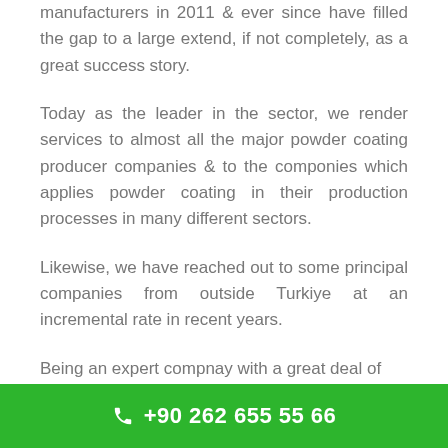manufacturers in 2011 & ever since have filled the gap to a large extend, if not completely, as a great success story.
Today as the leader in the sector, we render services to almost all the major powder coating producer companies & to the componies which applies powder coating in their production processes in many different sectors.
Likewise, we have reached out to some principal companies from outside Turkiye at an incremental rate in recent years.
Being an expert compnay with a great deal of
+90 262 655 55 66